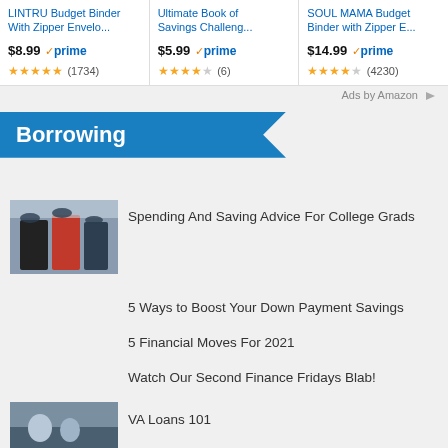[Figure (screenshot): Amazon ad row with three product cards: LINTRU Budget Binder With Zipper Envelo... $8.99 prime 5 stars (1734), Ultimate Book of Savings Challeng... $5.99 prime 4 stars (6), SOUL MAMA Budget Binder with Zipper E... $14.99 prime 4.5 stars (4230)]
Ads by Amazon
Borrowing
[Figure (photo): Photo of college graduates in caps and gowns celebrating]
Spending And Saving Advice For College Grads
5 Ways to Boost Your Down Payment Savings
5 Financial Moves For 2021
Watch Our Second Finance Fridays Blab!
[Figure (photo): Photo related to VA Loans]
VA Loans 101